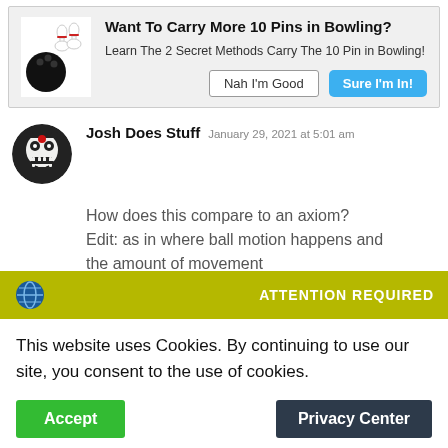[Figure (infographic): Ad banner with bowling ball and pins icon: Want To Carry More 10 Pins in Bowling? Learn The 2 Secret Methods Carry The 10 Pin in Bowling! Buttons: Nah I'm Good, Sure I'm In!]
[Figure (photo): User avatar for Josh Does Stuff - cartoon skull-like character]
Josh Does Stuff  January 29, 2021 at 5:01 am
How does this compare to an axiom? Edit: as in where ball motion happens and the amount of movement
[Figure (screenshot): Cookie consent banner with globe icon and ATTENTION REQUIRED header in olive/yellow background]
This website uses Cookies. By continuing to use our site, you consent to the use of cookies.